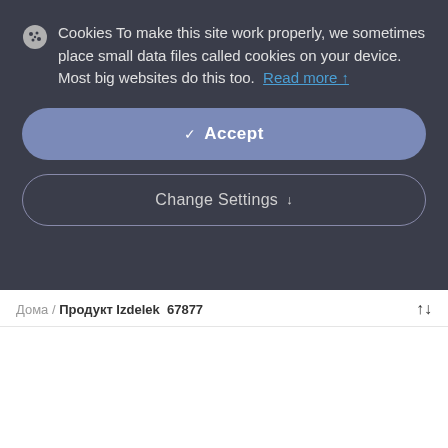Cookies To make this site work properly, we sometimes place small data files called cookies on your device. Most big websites do this too. Read more ↑
✓ Accept
Change Settings ↓
Дома / Продукт Izdelek 67877
[Figure (photo): Photo of a dark navy/black baby stroller with brown leather handle detail, shown from the side on a white background]